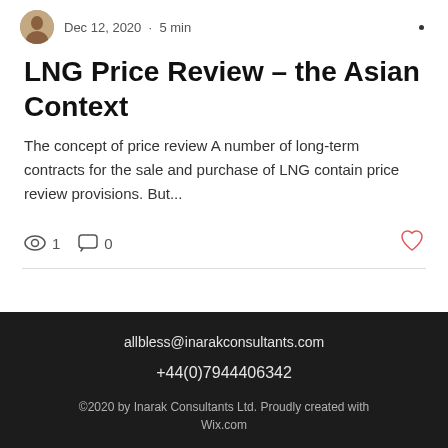Dec 12, 2020 · 5 min
LNG Price Review – the Asian Context
The concept of price review A number of long-term contracts for the sale and purchase of LNG contain price review provisions. But...
1  0
allbless@inarakconsultants.com
+44(0)7944406342
©2020 by Inarak Consultants Ltd. Proudly created with Wix.com